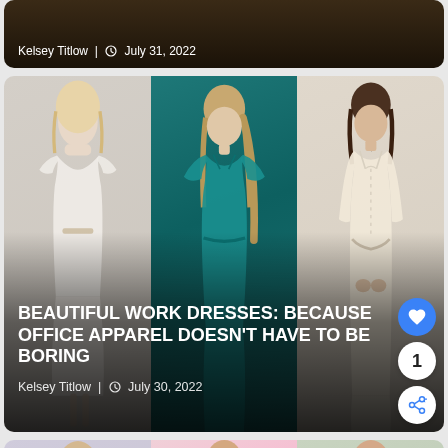[Figure (photo): Partial view of top article card with dark background, author credit Kelsey Titlow and date July 31, 2022]
Kelsey Titlow | July 31, 2022
[Figure (photo): Article card showing three women in dresses: white ruffled dress (left), teal midi dress (center), cream shirt dress (right). Overlay text: BEAUTIFUL WORK DRESSES: BECAUSE OFFICE APPAREL DOESN'T HAVE TO BE BORING. Author: Kelsey Titlow, Date: July 30, 2022. Heart/like button and share button visible.]
BEAUTIFUL WORK DRESSES: BECAUSE OFFICE APPAREL DOESN'T HAVE TO BE BORING
Kelsey Titlow | July 30, 2022
[Figure (photo): Partial view of bottom article card showing three women in dresses: lavender/blue boho dress (left), white and pink ombre puff-sleeve dress (center), sage green dress (right). A 'What's Next' widget is visible: 'Hottest Trend in Facial...']